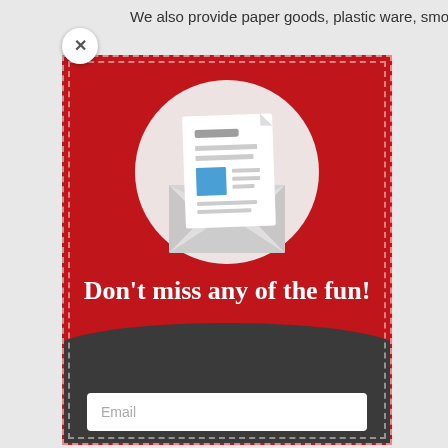We also provide paper goods, plastic ware, smocks,
[Figure (illustration): Email newsletter icon: open envelope with a newsletter/document inside, set within a light circle, against a red background]
Don't miss any of the fun!
Join our email club for specials & discounts!
Email